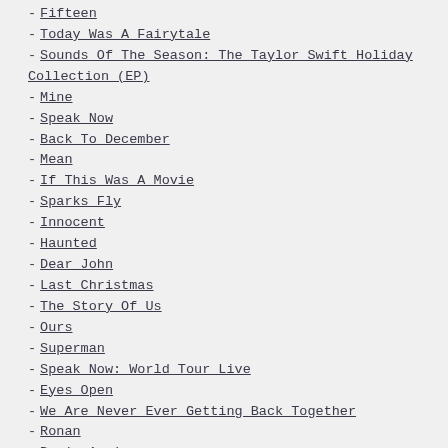Fifteen
Today Was A Fairytale
Sounds Of The Season: The Taylor Swift Holiday Collection (EP)
Mine
Speak Now
Back To December
Mean
If This Was A Movie
Sparks Fly
Innocent
Haunted
Dear John
Last Christmas
The Story Of Us
Ours
Superman
Speak Now: World Tour Live
Eyes Open
We Are Never Ever Getting Back Together
Ronan
Begin Again
Red
I Knew You Were Trouble
State Of Grace